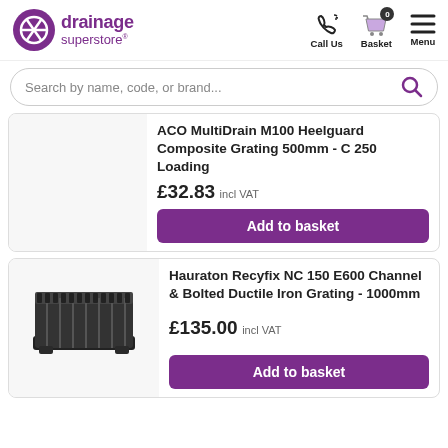[Figure (logo): Drainage Superstore logo with purple circle icon and text]
[Figure (infographic): Header navigation icons: Call Us (phone), Basket (cart with 0 badge), Menu (hamburger)]
Search by name, code, or brand...
ACO MultiDrain M100 Heelguard Composite Grating 500mm - C 250 Loading
£32.83 incl VAT
Add to basket
[Figure (photo): Product image area (partially cropped/empty for first product)]
Hauraton Recyfix NC 150 E600 Channel & Bolted Ductile Iron Grating - 1000mm
£135.00 incl VAT
Add to basket
[Figure (photo): Black drainage channel product photo - Hauraton Recyfix NC 150]